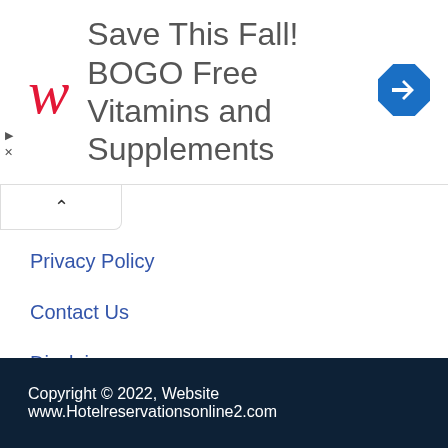[Figure (other): Walgreens advertisement banner: red cursive W logo, text 'Save This Fall! BOGO Free Vitamins and Supplements', blue diamond navigation icon on right, play and close controls on left]
Privacy Policy
Contact Us
Disclaimer
DMCA policy
Copyright © 2022, Website www.Hotelreservationsonline2.com